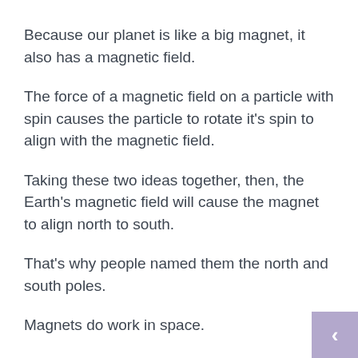Because our planet is like a big magnet, it also has a magnetic field.
The force of a magnetic field on a particle with spin causes the particle to rotate it's spin to align with the magnetic field.
Taking these two ideas together, then, the Earth's magnetic field will cause the magnet to align north to south.
That's why people named them the north and south poles.
Magnets do work in space.
Incredibly, magnetism is everywhere in the cosmos: planets, stars, gaseous nebulae, entire galaxies and